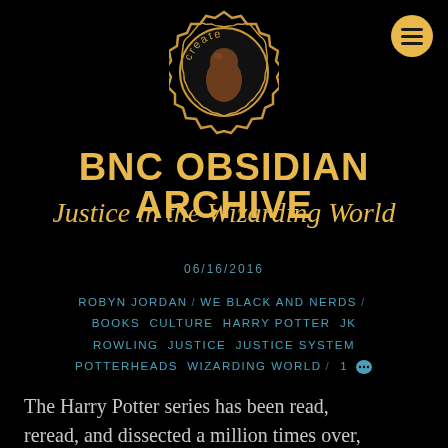[Figure (logo): BNC Obsidian Archive 'create' logo — a golden acorn-badge shape with a brown teardrop/light-bulb inside, text 'create' arched at top]
[Figure (illustration): Hamburger menu icon (three horizontal lines) inside a golden circle, top-right corner]
BNC OBSIDIAN ARCHIVE
Justice in the Wizarding World
06/16/2016
ROBYN JORDAN / WE BLACK AND NERDS / BOOKS CULTURE HARRY POTTER JK ROWLING JUSTICE JUSTICE SYSTEM POTTERHEADS WIZARDING WORLD / 1 💬
The Harry Potter series has been read, reread, and dissected a million times over,